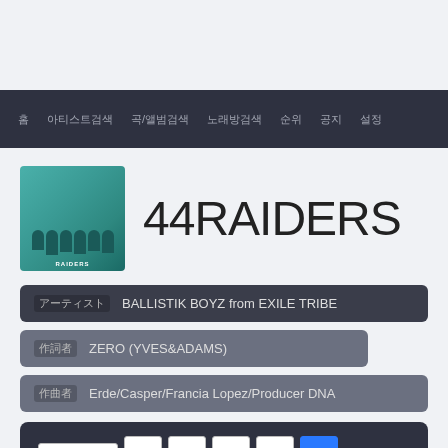(navigation bar with Korean menu items)
[Figure (photo): Album cover thumbnail showing group of people with teal/green tones, labeled RAIDERS at bottom]
44RAIDERS
アーティスト BALLISTIK BOYZ from EXILE TRIBE
作詞者 ZERO (YVES&ADAMS)
作曲者 Erde/Casper/Francia Lopez/Producer DNA
00:00.4
作詞 : ZERO (YVES&amp;ADAMS)